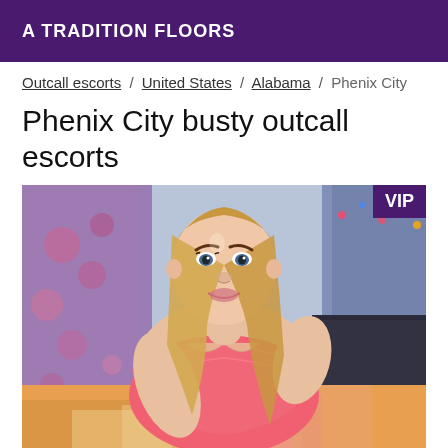A TRADITION FLOORS
Outcall escorts / United States / Alabama / Phenix City
Phenix City busty outcall escorts
[Figure (photo): Young blonde woman in pink lace top leaning forward, with VIP badge in top right corner]
Ukrainian hot